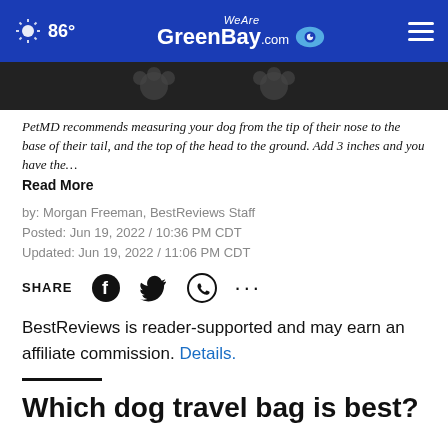86° WeAreGreenBay.com
[Figure (photo): Dark background image strip with partial paw/dog icons visible]
PetMD recommends measuring your dog from the tip of their nose to the base of their tail, and the top of the head to the ground. Add 3 inches and you have the…
Read More
by: Morgan Freeman, BestReviews Staff
Posted: Jun 19, 2022 / 10:36 PM CDT
Updated: Jun 19, 2022 / 11:06 PM CDT
SHARE
BestReviews is reader-supported and may earn an affiliate commission. Details.
Which dog travel bag is best?